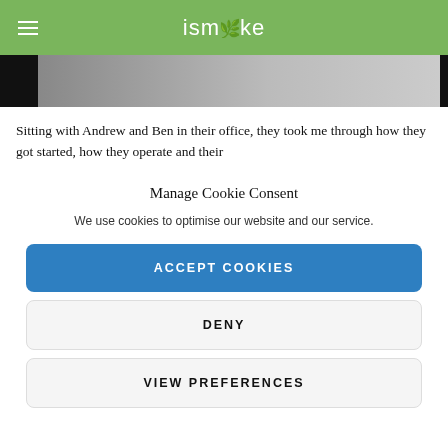ismoke
[Figure (photo): Partial photo strip showing dark/grey background with black edges on left and right sides]
Sitting with Andrew and Ben in their office, they took me through how they got started, how they operate and their
Manage Cookie Consent
We use cookies to optimise our website and our service.
ACCEPT COOKIES
DENY
VIEW PREFERENCES